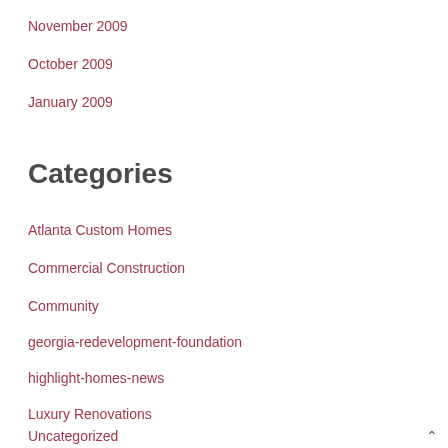November 2009
October 2009
January 2009
Categories
Atlanta Custom Homes
Commercial Construction
Community
georgia-redevelopment-foundation
highlight-homes-news
Luxury Renovations
Uncategorized